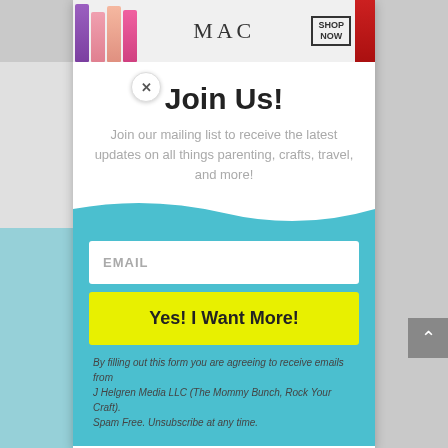[Figure (screenshot): MAC cosmetics banner ad showing colourful lipsticks on the left and right, MAC logo in the centre, and a SHOP NOW button]
Join Us!
Join our mailing list to receive the latest updates on all things parenting, crafts, travel, and more!
EMAIL
Yes! I Want More!
By filling out this form you are agreeing to receive emails from J Helgren Media LLC (The Mommy Bunch, Rock Your Craft). Spam Free. Unsubscribe at any time.